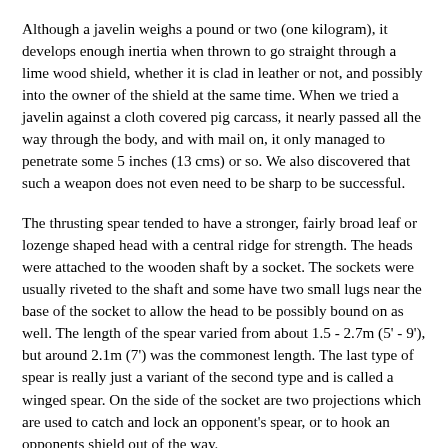Although a javelin weighs a pound or two (one kilogram), it develops enough inertia when thrown to go straight through a lime wood shield, whether it is clad in leather or not, and possibly into the owner of the shield at the same time. When we tried a javelin against a cloth covered pig carcass, it nearly passed all the way through the body, and with mail on, it only managed to penetrate some 5 inches (13 cms) or so. We also discovered that such a weapon does not even need to be sharp to be successful.
The thrusting spear tended to have a stronger, fairly broad leaf or lozenge shaped head with a central ridge for strength. The heads were attached to the wooden shaft by a socket. The sockets were usually riveted to the shaft and some have two small lugs near the base of the socket to allow the head to be possibly bound on as well. The length of the spear varied from about 1.5 - 2.7m (5' - 9'), but around 2.1m (7') was the commonest length. The last type of spear is really just a variant of the second type and is called a winged spear. On the side of the socket are two projections which are used to catch and lock an opponent's spear, or to hook an opponents shield out of the way.
The spear was, without doubt, the commonest weapon of this period and its almost universal use within all ranks and cultures testifies to its effectiveness. It is a weapon that can make an